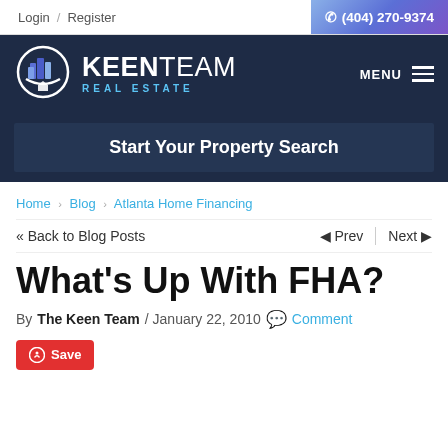Login / Register  ☎ (404) 270-9374
[Figure (logo): Keen Team Real Estate logo with circular icon showing stylized buildings and MENU button]
Start Your Property Search
Home > Blog > Atlanta Home Financing
<< Back to Blog Posts   Prev  Next
What's Up With FHA?
By The Keen Team / January 22, 2010  Comment
Save